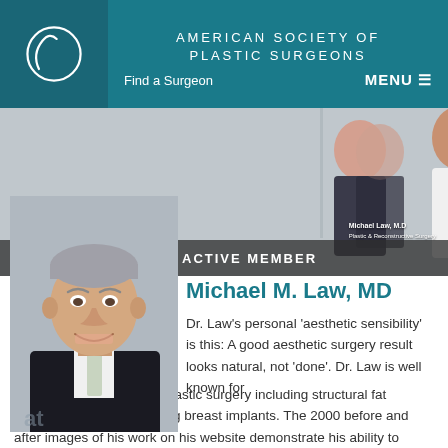AMERICAN SOCIETY OF PLASTIC SURGEONS
Find a Surgeon
MENU ≡
[Figure (photo): Banner photograph showing a woman and a man in a white coat (Michael Law, M.D.) standing together, with 'ACTIVE MEMBER' label overlay]
[Figure (photo): Professional headshot of Dr. Michael M. Law, MD, a middle-aged man with gray hair wearing a suit and light tie, smiling]
Michael M. Law, MD
Dr. Law's personal 'aesthetic sensibility' is this: A good aesthetic surgery result looks natural, not 'done'. Dr. Law is well known for providing natural looking plastic surgery including structural fat grafting, and natural looking breast implants. The 2000 before and after images of his work on his website demonstrate his ability to provide beautiful and natural looking plastic surgery